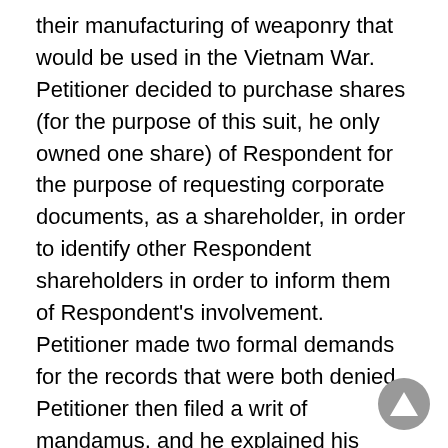their manufacturing of weaponry that would be used in the Vietnam War. Petitioner decided to purchase shares (for the purpose of this suit, he only owned one share) of Respondent for the purpose of requesting corporate documents, as a shareholder, in order to identify other Respondent shareholders in order to inform them of Respondent's involvement. Petitioner made two formal demands for the records that were both denied. Petitioner then filed a writ of mandamus, and he explained his reasons for the inspection. The trial court agreed with Respondent in finding that there was no proper purpose related to his interest as a stockholder.